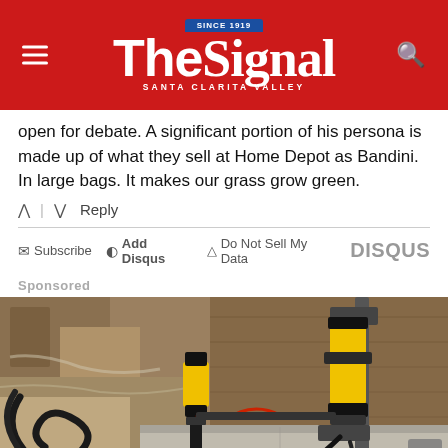The Signal — Santa Clarita Valley
open for debate. A significant portion of his persona is made up of what they sell at Home Depot as Bandini. In large bags. It makes our grass grow green.
↑ | ↓  Reply
✉ Subscribe  ● Add Disqus  ▲ Do Not Sell My Data   DISQUS
Sponsored
[Figure (photo): Sponsored image showing construction/foundation equipment — hydraulic pistons with yellow handles attached to a concrete foundation wall, with black cables visible in an excavated area next to a wooden structure.]